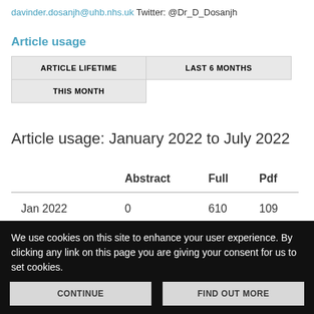davinder.dosanjh@uhb.nhs.uk Twitter: @Dr_D_Dosanjh
Article usage
|  | Abstract | Full | Pdf |
| --- | --- | --- | --- |
| Jan 2022 | 0 | 610 | 109 |
| Feb 2022 | 0 | 297 | 157 |
Article usage: January 2022 to July 2022
We use cookies on this site to enhance your user experience. By clicking any link on this page you are giving your consent for us to set cookies.